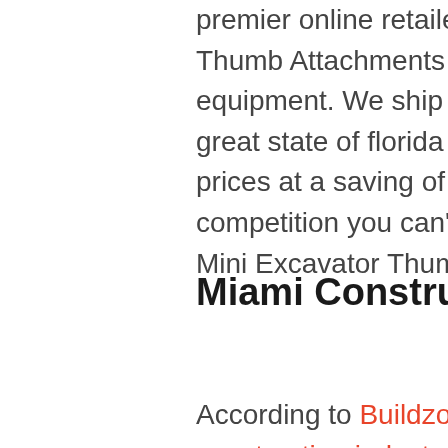premier online retailer of Manual and Hydraulic Thumb Attachments for your excavating equipment. We ship our thumbs all across the great state of florida at no cost to you. With prices at a saving of up to 45% off our competition you can't afford not to purchase a Mini Excavator Thumb for your machine.
Miami Construction is on the up
According to Buildzoom.com's analysis of the construction industry in the Miami area. The amount of permits and building has increased greatly since the financial collapse of 2008. For you in the construction business this is great news but like